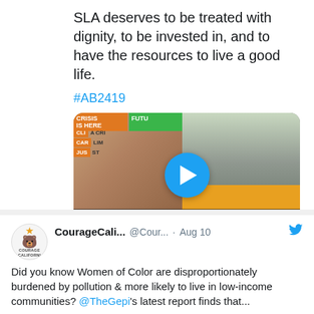SLA deserves to be treated with dignity, to be invested in, and to have the resources to live a good life.
#AB2419
[Figure (screenshot): Video thumbnail showing a woman in front of climate protest banners on the left, and a bus on a street on the right, with a blue play button in the center. Subtitle reads: 'I want to speak on the problems we are having with public transit.']
2 likes
CourageCali... @Cour... · Aug 10
Did you know Women of Color are disproportionately burdened by pollution & more likely to live in low-income communities? @TheGepi's latest report finds that...